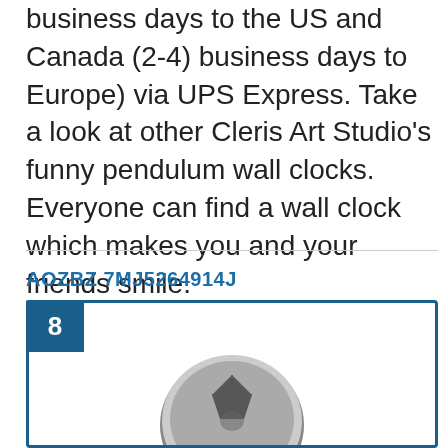business days to the US and Canada (2-4) business days to Europe) via UPS Express. Take a look at other Cleris Art Studio's funny pendulum wall clocks. Everyone can find a wall clock which makes you and your friends smile.
AOZBZ 7MJ5264914J
[Figure (other): Product listing card with number badge '8' in dark blue, and a circular coin/medallion image at the bottom center]